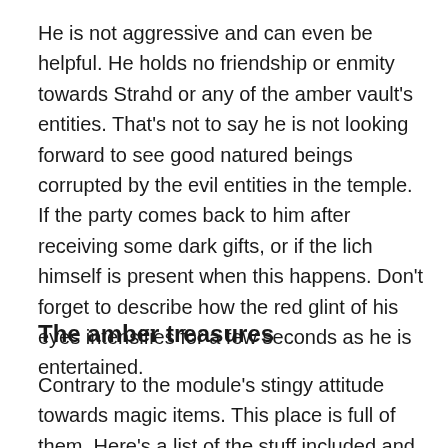He is not aggressive and can even be helpful. He holds no friendship or enmity towards Strahd or any of the amber vault's entities. That's not to say he is not looking forward to see good natured beings corrupted by the evil entities in the temple. If the party comes back to him after receiving some dark gifts, or if the lich himself is present when this happens. Don't forget to describe how the red glint of his eyes intensifies for a few seconds as he is entertained.
The amber treasures
Contrary to the module's stingy attitude towards magic items. This place is full of them. Here's a list of the stuff included and where it can be found: